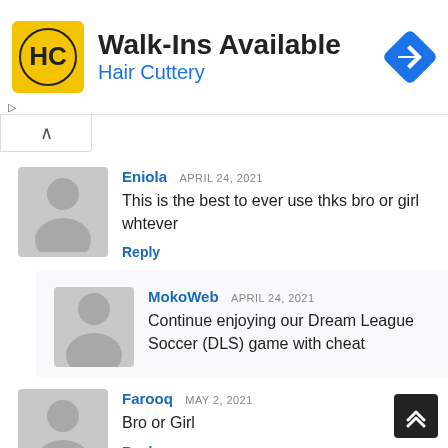[Figure (infographic): Hair Cuttery advertisement banner: HC logo on yellow background, text 'Walk-Ins Available' and 'Hair Cuttery' in blue, blue diamond navigation icon on right]
Eniola APRIL 24, 2021
This is the best to ever use thks bro or girl whtever
Reply
MokoWeb APRIL 24, 2021
Continue enjoying our Dream League Soccer (DLS) game with cheat
Farooq MAY 2, 2021
Bro or Girl
Reply